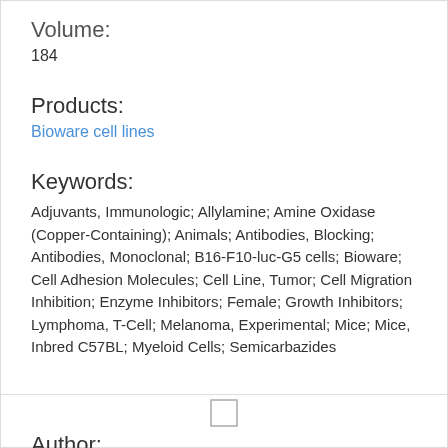Volume:
184
Products:
Bioware cell lines
Keywords:
Adjuvants, Immunologic; Allylamine; Amine Oxidase (Copper-Containing); Animals; Antibodies, Blocking; Antibodies, Monoclonal; B16-F10-luc-G5 cells; Bioware; Cell Adhesion Molecules; Cell Line, Tumor; Cell Migration Inhibition; Enzyme Inhibitors; Female; Growth Inhibitors; Lymphoma, T-Cell; Melanoma, Experimental; Mice; Mice, Inbred C57BL; Myeloid Cells; Semicarbazides
[Figure (other): Small empty rectangle placeholder image]
Author: